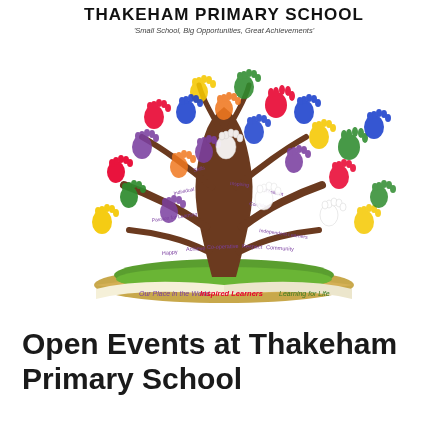THAKEHAM PRIMARY SCHOOL
'Small School, Big Opportunities, Great Achievements'
[Figure (illustration): Colourful children's handprints forming the foliage of a tree of knowledge. The tree trunk has words written on its branches: Individual, Skills, Inspiring, Challenging, Passion for Learning, High Quality Learning, Resilient, Confident, Happy, Achieve, Co-operative, Respect, Community, Independent Learners. An open book forms the base with text: Our Place in the World | Inspired Learners | Learning for Life.]
Open Events at Thakeham Primary School